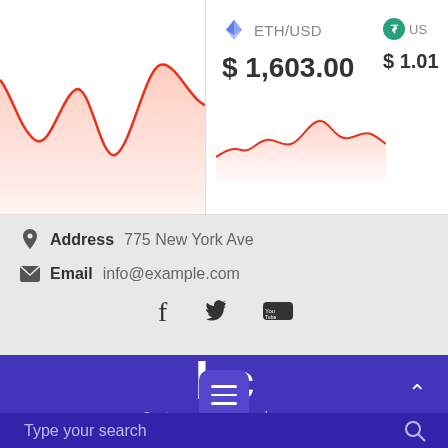[Figure (line-chart): Red line chart showing cryptocurrency price trend, partially visible on left side of ticker bar]
ETH/USD
$ 1,603.00
[Figure (line-chart): Red line chart for ETH/USD price trend]
US
$ 1.01
Address  775 New York Ave
Email  info@example.com
[Figure (other): Social media icons: Facebook, Twitter, YouTube]
bc
Crytocurrency Exchange
[Figure (other): Hamburger menu button]
Type your search